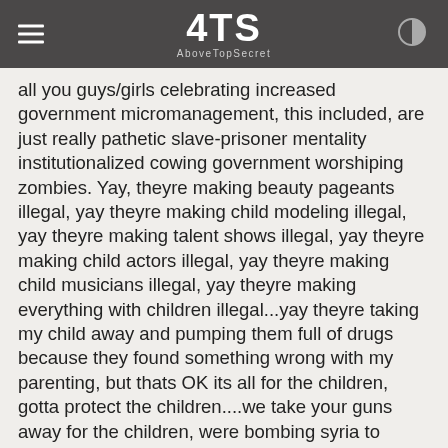ATS AboveTopSecret
all you guys/girls celebrating increased government micromanagement, this included, are just really pathetic slave-prisoner mentality institutionalized cowing government worshiping zombies. Yay, theyre making beauty pageants illegal, yay theyre making child modeling illegal, yay theyre making talent shows illegal, yay theyre making child actors illegal, yay theyre making child musicians illegal, yay theyre making everything with children illegal...yay theyre taking my child away and pumping them full of drugs because they found something wrong with my parenting, but thats OK its all for the children, gotta protect the children....we take your guns away for the children, were bombing syria to protect the children, were pumping you full of vaccines and filling your water and food supply with chemicals to protect the children.....
wow...the level of retarded logic and wilted reasoning ability is stunning....but hey, you guys enjoy your nanny state, you asked for it after all.